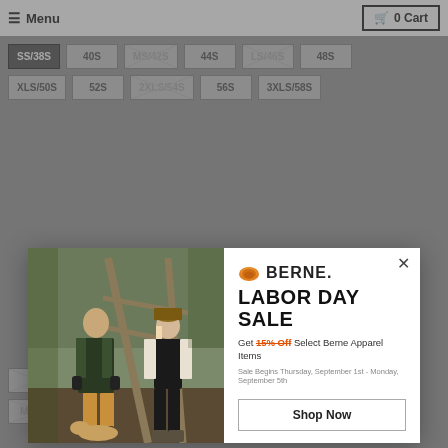Menu | 0 Cart
SS/38S  40S  MS/42S  44S  LS/46S  48S  XLS/50S  52S  2XLS/54S  56S  3XLS/58S  60T  4XLT/62T  5XLT/66T  6XLT/70T  MXT/42XT  LXT/46XT  XLXT/50XT  2XLXT/54XT
[Figure (photo): Two people standing outdoors near wooden structure in workwear clothing, with a dog at their feet. Part of a BERNE clothing advertisement.]
LABOR DAY SALE
Get 15% Off Select Berne Apparel Items
Sale Begins Thursday, September 1st - Monday, September 5th
Shop Now